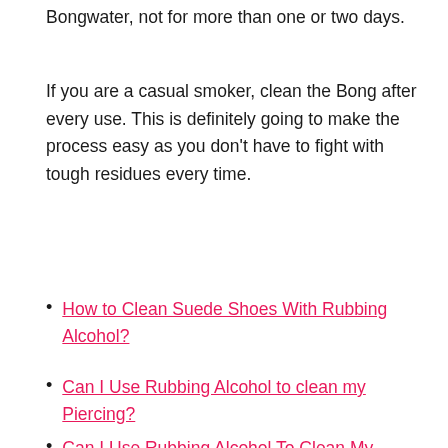Bongwater, not for more than one or two days.
If you are a casual smoker, clean the Bong after every use. This is definitely going to make the process easy as you don't have to fight with tough residues every time.
How to Clean Suede Shoes With Rubbing Alcohol?
Can I Use Rubbing Alcohol to clean my Piercing?
Can I Use Rubbing Alcohol To Clean My Keyboard?